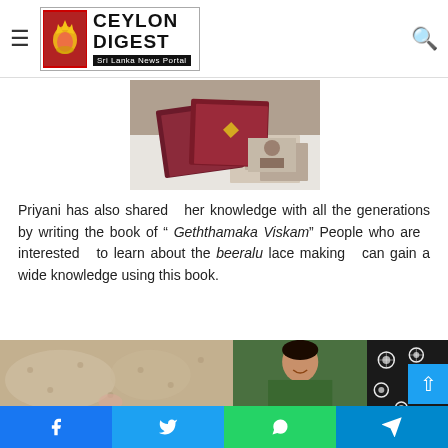Ceylon Digest — Sri Lanka News Portal
[Figure (photo): Stack of maroon-covered books with photographs scattered around them on a white surface]
Priyani has also shared her knowledge with all the generations by writing the book of " Geththamaka Viskam" People who are interested to learn about the beeralu lace making can gain a wide knowledge using this book.
[Figure (photo): Three-panel bottom image: left panel shows beige lace fabric, middle panel shows a woman in green sari with jewelry, right panel shows black fabric with white floral lace embroidery]
Facebook  Twitter  WhatsApp  Telegram